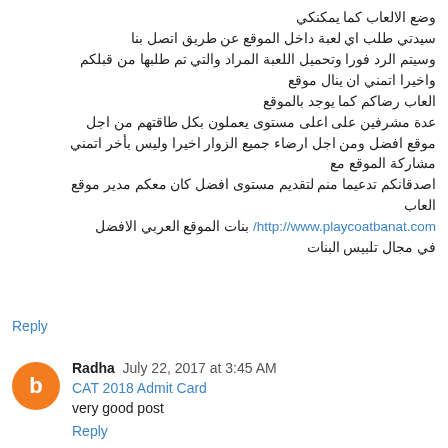وضع الالعاب كما يمكنكي
سيدتي طلب اي لعبة داخل الموقع عن طريق اتصل بنا وسيتم الرد فورا وتحميل اللعبة المراد والتي تم طلبها من قبلكم واخيرا اتمني ان ينال موقع العاب رضاكم كما يوجد بالموقع عدة مشرفين على اعلى مستوى يعملون بكل طاقتهم من اجل موقع افضل ومن اجل ارضاء جميع الزوار اخيرا وليس بأخر اتمني مشاركة الموقع مع اصدقانكم تدعيما منم لتقديم مستوى افضل كان معكم مدير موقع العاب
بنات الموقع العربي الافضل http://www.playcoatbanat.com/
في مجال تلبيس البنات
Reply
Radha  July 22, 2017 at 3:45 AM
CAT 2018 Admit Card
very good post
Reply